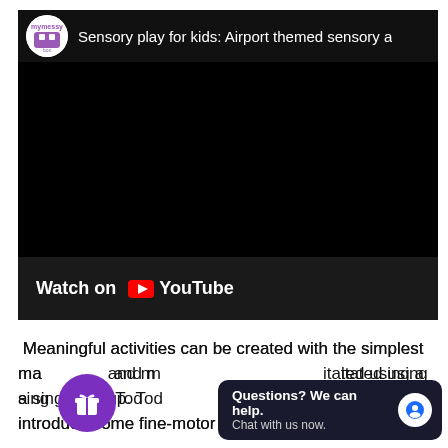[Figure (screenshot): Embedded YouTube video player showing 'Sensory play for kids: Airport themed sensory a...' from mymessybox channel. Black video area with YouTube Watch on bar at bottom.]
Meaningful activities can be created with the simplest materials and more can be facilitated using a single setup. Today we explore the world of an airport and introduce some fine-motor and time-telling activities to